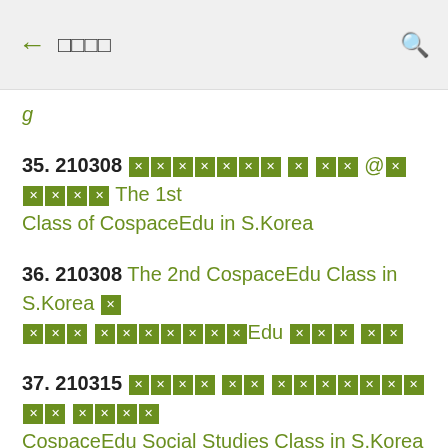← □□□□  🔍
35. 210308 [tofu x7] [tofu] [tofu x2] @[tofu x5] The 1st Class of CospaceEdu in S.Korea
36. 210308 The 2nd CospaceEdu Class in S.Korea [tofu] [tofu x3] [tofu x7]Edu [tofu x3] [tofu x2]
37. 210315 [tofu x4] [tofu x2] [tofu x7] [tofu x2] [tofu x4] CospaceEdu Social Studies Class in S.Korea
38. [tofu x6]EDU [tofu x2] [tofu x7]
39. 210419 [tofu x3] [tofu x6], [tofu x2] [tofu x4] [tofu x2] The